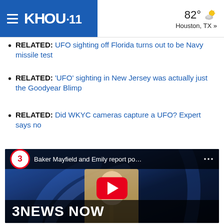KHOU 11 | 82° Houston, TX »
RELATED: UFO sighting off Florida turns out to be Navy missile test
RELATED: 'UFO' sighting in New Jersey was actually just the Goodyear Blimp
RELATED: Did WKYC cameras capture a UFO? Expert says no
[Figure (screenshot): YouTube video thumbnail showing a blonde female news anchor with text 'Baker Mayfield and Emily report po...' and a '3NEWS NOW' banner at the bottom. Channel 3 badge visible in top left corner of the video player.]